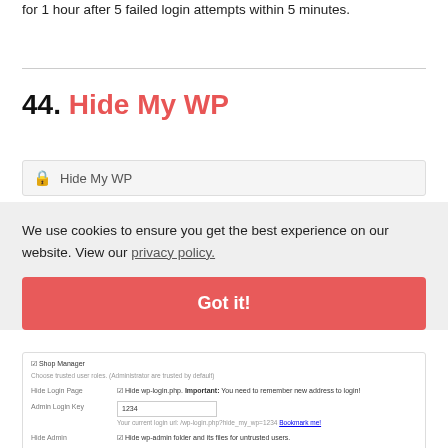for 1 hour after 5 failed login attempts within 5 minutes.
44. Hide My WP
[Figure (screenshot): Screenshot showing Hide My WP plugin settings panel with fields for Hide Login Page, Admin Login Key, Hide Admin, and Spy Notifier]
We use cookies to ensure you get the best experience on our website. View our privacy policy.
Got it!